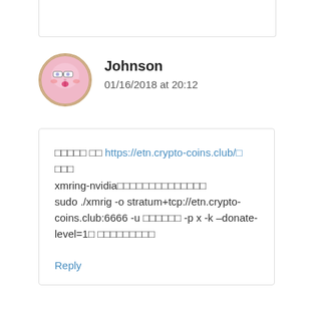Johnson
01/16/2018 at 20:12
□□□□□ □□ https://etn.crypto-coins.club/□ □□□ xmring-nvidia□□□□□□□□□□□□□□□ sudo ./xmrig -o stratum+tcp://etn.crypto-coins.club:6666 -u □□□□□□ -p x -k –donate-level=1□ □□□□□□□□□
Reply